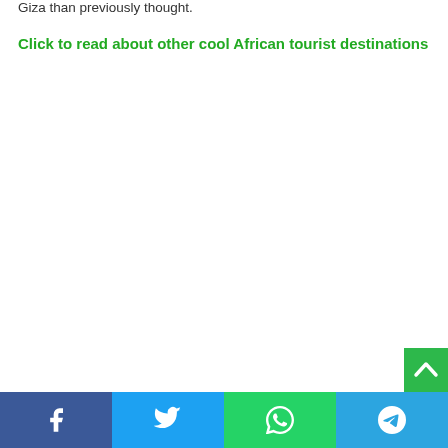Giza than previously thought.
Click to read about other cool African tourist destinations
[Figure (other): Scroll-to-top green button with upward chevron arrow]
Social share bar with Facebook, Twitter, WhatsApp, and Telegram icons